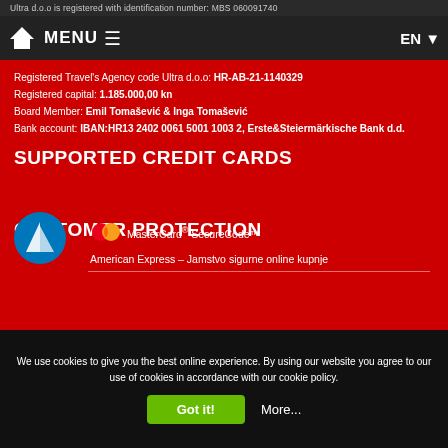Ultra d.o.o is registered with identification number: MBS 060091740
MENU  EN
Registered Travel's Agency code Ultra d.o.o: HR-AB-21-1140329
Registered capital: 1.185.000,00 kn
Board Member: Emil Tomašević & Inga Tomašević
Bank account: IBAN:HR13 2402 0061 5001 1003 2, Erste&Steiermärkische Bank d.d.
SUPPORTED CREDIT CARDS
CUSTOMER PROTECTION
MasterCard® SecureCode™
American Express – Jamstvo sigurne online kupnje
We use cookies to give you the best online experience. By using our website you agree to our use of cookies in accordance with our cookie policy.
Got it!  More...